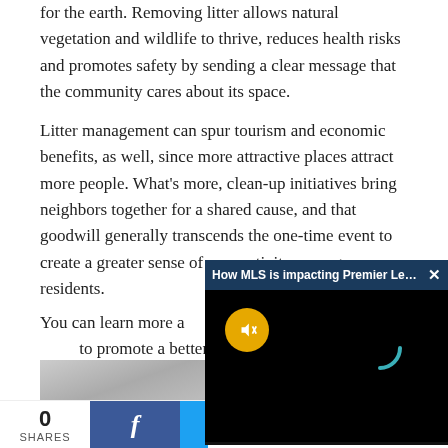for the earth. Removing litter allows natural vegetation and wildlife to thrive, reduces health risks and promotes safety by sending a clear message that the community cares about its space.
Litter management can spur tourism and economic benefits, as well, since more attractive places attract more people. What’s more, clean-up initiatives bring neighbors together for a shared cause, and that goodwill generally transcends the one-time event to create a greater sense of connectivity among residents.
You can learn more a[bout litter management and ways] to promote a better w[orld...]
[Figure (screenshot): Video overlay popup with dark header showing 'How MLS is impacting Premier League s...' with a close X button, black video body with a yellow mute/unmute button and a teal loading spinner arc on dark background.]
[Figure (photo): Partial photo strip showing gray/silver horizontal striped surface, partially obscured by video overlay.]
0 SHARES
[Figure (screenshot): Facebook share button (blue with white italic f) and partial Twitter button (light blue).]